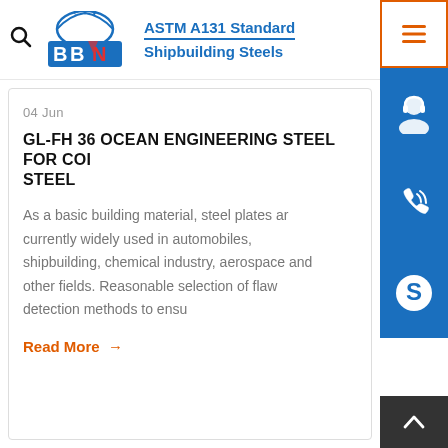[Figure (logo): BBN ASTM A131 Standard Shipbuilding Steels logo with search icon and hamburger menu button]
04 Jun
GL-FH 36 OCEAN ENGINEERING STEEL FOR COI STEEL
As a basic building material, steel plates ar currently widely used in automobiles, shipbuilding, chemical industry, aerospace and other fields. Reasonable selection of flaw detection methods to ensu
Read More →